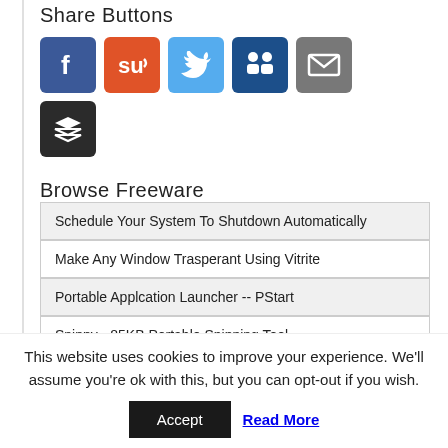Share Buttons
[Figure (infographic): Row of social share button icons: Facebook (blue), StumbleUpon (orange-red), Twitter (light blue), LinkedIn (dark blue), Email (grey), and Buffer (dark/black) icon buttons.]
Browse Freeware
Schedule Your System To Shutdown Automatically
Make Any Window Trasperant Using Vitrite
Portable Applcation Launcher -- PStart
Snippy - 85KB Portable Snipping Tool
This website uses cookies to improve your experience. We'll assume you're ok with this, but you can opt-out if you wish.
Accept   Read More